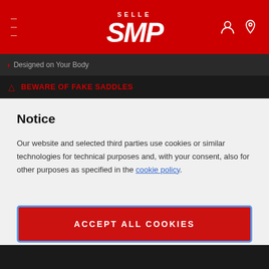SELLE SMP
Designed on Your Body
⚠ BEWARE OF FAKE SADDLES
Notice
Our website and selected third parties use cookies or similar technologies for technical purposes and, with your consent, also for other purposes as specified in the cookie policy.
ACCEPT ALL COOKIES
PRIVACY PREFERENCES